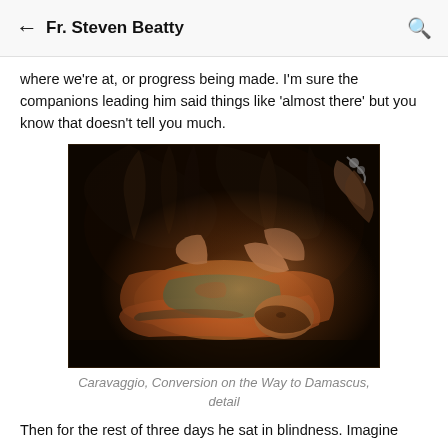Fr. Steven Beatty
where we're at, or progress being made. I'm sure the companions leading him said things like 'almost there' but you know that doesn't tell you much.
[Figure (photo): Caravaggio painting detail showing a figure fallen on the ground with arms raised upward, surrounded by legs and a horse, dramatic chiaroscuro lighting with dark background and orange/red drapery]
Caravaggio, Conversion on the Way to Damascus, detail
Then for the rest of three days he sat in blindness. Imagine